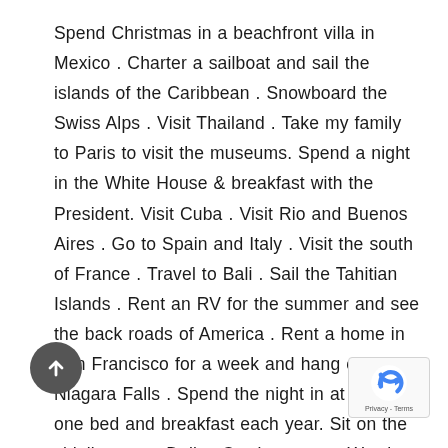Spend Christmas in a beachfront villa in Mexico . Charter a sailboat and sail the islands of the Caribbean . Snowboard the Swiss Alps . Visit Thailand . Take my family to Paris to visit the museums. Spend a night in the White House & breakfast with the President. Visit Cuba . Visit Rio and Buenos Aires . Go to Spain and Italy . Visit the south of France . Travel to Bali . Sail the Tahitian Islands . Rent an RV for the summer and see the back roads of America . Rent a home in San Francisco for a week and hang out. Visit Niagara Falls . Spend the night in at least one bed and breakfast each year. Sit on the sidelines at a Dallas Cowboy game. Watch a pro prizefight ringside . Ride the Concorde to Europe . T four-day plus trip each quarter